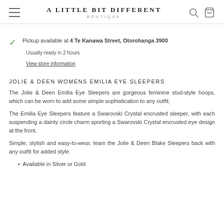A LITTLE BIT DIFFERENT BOUTIQUE
Pickup available at 4 Te Kanawa Street, Otorohanga 3900
Usually ready in 2 hours
View store information
JOLIE & DEEN WOMENS EMILIA EYE SLEEPERS
The Jolie & Deen Emilia Eye Sleepers are gorgeous feminine stud-style hoops, which can be worn to add some simple sophistication to any outfit.
The Emilia Eye Sleepers feature a Swarovski Crystal encrusted sleeper, with each suspending a dainty circle charm sporting a Swarovski Crystal encrusted eye design at the front.
Simple, stylish and easy-to-wear, team the Jolie & Deen Blake Sleepers back with any outfit for added style.
Available in Silver or Gold